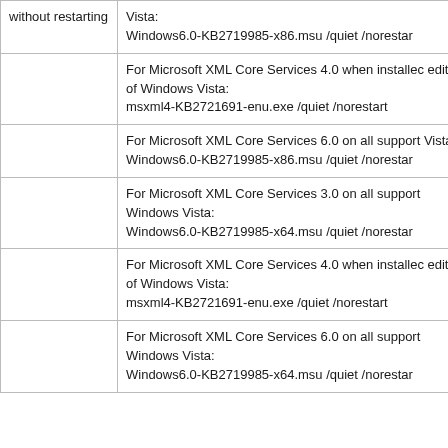| without restarting | Vista:
Windows6.0-KB2719985-x86.msu /quiet /norestar |
|  | For Microsoft XML Core Services 4.0 when installec editions of Windows Vista:
msxml4-KB2721691-enu.exe /quiet /norestart |
|  | For Microsoft XML Core Services 6.0 on all support Vista:
Windows6.0-KB2719985-x86.msu /quiet /norestar |
|  | For Microsoft XML Core Services 3.0 on all support Windows Vista:
Windows6.0-KB2719985-x64.msu /quiet /norestar |
|  | For Microsoft XML Core Services 4.0 when installec editions of Windows Vista:
msxml4-KB2721691-enu.exe /quiet /norestart |
|  | For Microsoft XML Core Services 6.0 on all support Windows Vista:
Windows6.0-KB2719985-x64.msu /quiet /norestar |